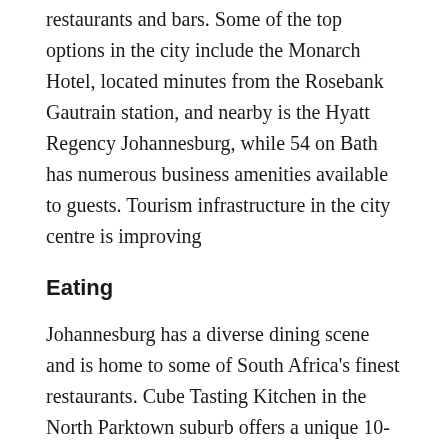restaurants and bars. Some of the top options in the city include the Monarch Hotel, located minutes from the Rosebank Gautrain station, and nearby is the Hyatt Regency Johannesburg, while 54 on Bath has numerous business amenities available to guests. Tourism infrastructure in the city centre is improving
Eating
Johannesburg has a diverse dining scene and is home to some of South Africa's finest restaurants. Cube Tasting Kitchen in the North Parktown suburb offers a unique 10-course tasting experience. Level Four, located inside the 54 on Bath hotel, is popular for business lunches. For great sushi check out Sandton's Yamato restaurant and the Licorish Bistro offers South African fare with a modern twist.